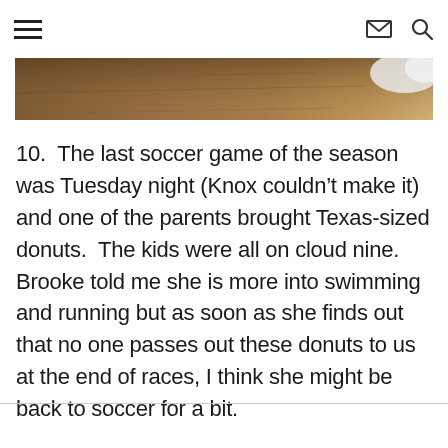[hamburger menu] [envelope icon] [search icon]
[Figure (photo): Partial photo of what appears to be a wooden surface or floor with fabric/cloth in the upper right corner, cropped at the top of the content area.]
10.  The last soccer game of the season was Tuesday night (Knox couldn’t make it) and one of the parents brought Texas-sized donuts.  The kids were all on cloud nine.  Brooke told me she is more into swimming and running but as soon as she finds out that no one passes out these donuts to us at the end of races, I think she might be back to soccer for a bit.